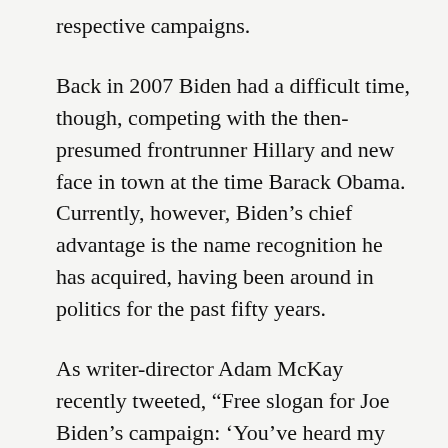respective campaigns.
Back in 2007 Biden had a difficult time, though, competing with the then-presumed frontrunner Hillary and new face in town at the time Barack Obama. Currently, however, Biden’s chief advantage is the name recognition he has acquired, having been around in politics for the past fifty years.
As writer-director Adam McKay recently tweeted, “Free slogan for Joe Biden’s campaign: ‘You’ve heard my name before.’”
During his first Tinseltown trip of the 2020 campaign cycle, Biden’s notoriety paid off in